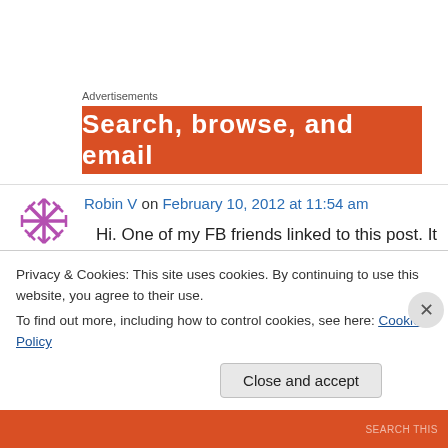Advertisements
[Figure (infographic): Orange advertisement banner with white bold text: Search, browse, and email]
Robin V on February 10, 2012 at 11:54 am
Hi. One of my FB friends linked to this post. It is beautiful – thank you!
↳ Reply
Privacy & Cookies: This site uses cookies. By continuing to use this website, you agree to their use.
To find out more, including how to control cookies, see here: Cookie Policy
Close and accept